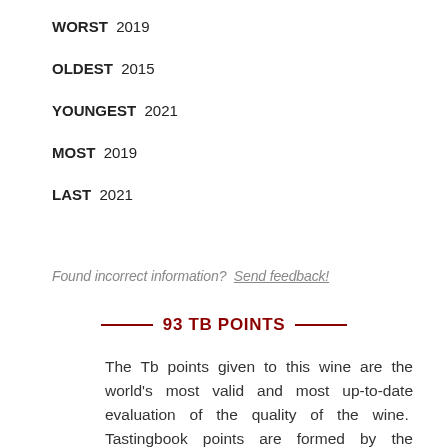WORST  2019
OLDEST  2015
YOUNGEST  2021
MOST  2019
LAST  2021
Found incorrect information? Send feedback!
93 TB POINTS
The Tb points given to this wine are the world's most valid and most up-to-date evaluation of the quality of the wine. Tastingbook points are formed by the Tastingbook algorithm which takes into account